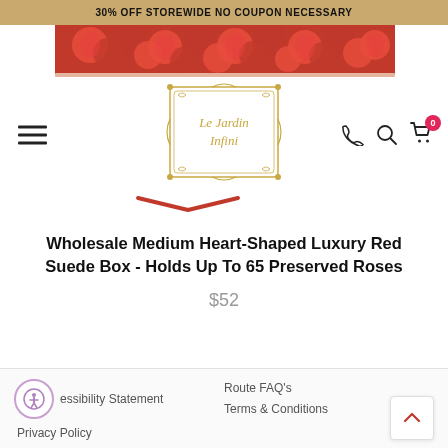30% OFF STOREWIDE NO COUPON NECESSARY
[Figure (photo): Red roses product photo strip at top of page]
[Figure (logo): Le Jardin Infini logo with gold ornate frame in center of navigation bar]
Wholesale Medium Heart-Shaped Luxury Red Suede Box - Holds Up To 65 Preserved Roses
$52
Accessibility Statement  Privacy Policy  Route FAQ's  Terms & Conditions